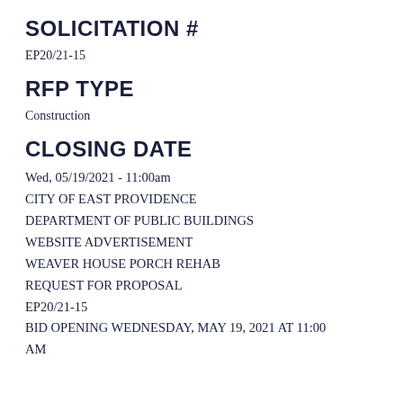SOLICITATION #
EP20/21-15
RFP TYPE
Construction
CLOSING DATE
Wed, 05/19/2021 - 11:00am
CITY OF EAST PROVIDENCE
DEPARTMENT OF PUBLIC BUILDINGS
WEBSITE ADVERTISEMENT
WEAVER HOUSE PORCH REHAB
REQUEST FOR PROPOSAL
EP20/21-15
BID OPENING WEDNESDAY, MAY 19, 2021 AT 11:00 AM